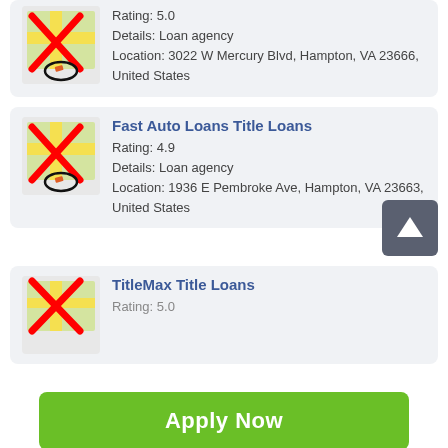[Figure (screenshot): Partial listing card at top: map placeholder icon with red X, rating 5.0, Loan agency, 3022 W Mercury Blvd Hampton VA 23666 United States]
Rating: 5.0
Details: Loan agency
Location: 3022 W Mercury Blvd, Hampton, VA 23666, United States
Fast Auto Loans Title Loans
Rating: 4.9
Details: Loan agency
Location: 1936 E Pembroke Ave, Hampton, VA 23663, United States
TitleMax Title Loans
Rating: 5.0
Apply Now
Applying does NOT affect your credit score!
No credit check to apply.